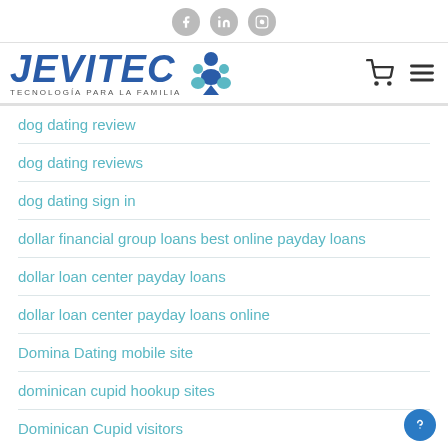Social icons: Facebook, LinkedIn, Instagram
[Figure (logo): JEVITEC logo — blue italic bold text with person/family icon, tagline TECNOLOGÍA PARA LA FAMILIA, with cart and hamburger menu icons]
dog dating review
dog dating reviews
dog dating sign in
dollar financial group loans best online payday loans
dollar loan center payday loans
dollar loan center payday loans online
Domina Dating mobile site
dominican cupid hookup sites
Dominican Cupid visitors